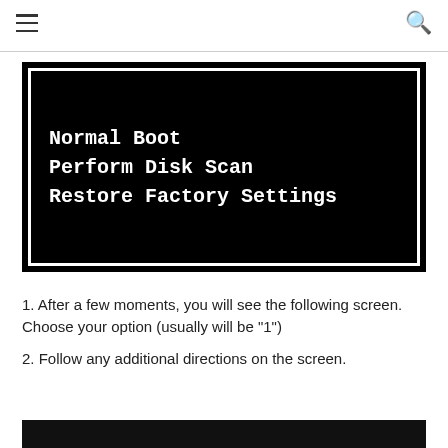≡  🔍
[Figure (screenshot): A black boot menu screen with white bordered box showing three options: Normal Boot, Perform Disk Scan, Restore Factory Settings]
After a few moments, you will see the following screen. Choose your option (usually will be "1")
Follow any additional directions on the screen.